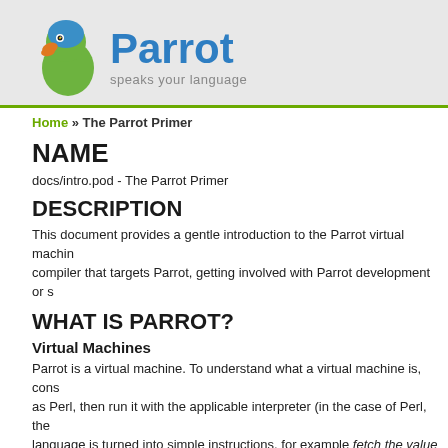[Figure (logo): Parrot virtual machine logo with parrot bird graphic and text 'Parrot speaks your language']
Home » The Parrot Primer
NAME
docs/intro.pod - The Parrot Primer
DESCRIPTION
This document provides a gentle introduction to the Parrot virtual machine. compiler that targets Parrot, getting involved with Parrot development or s
WHAT IS PARROT?
Virtual Machines
Parrot is a virtual machine. To understand what a virtual machine is, cons as Perl, then run it with the applicable interpreter (in the case of Perl, the language is turned into simple instructions, for example fetch the value o variable named y, etc. A single line of code in a high level language may called compilation.